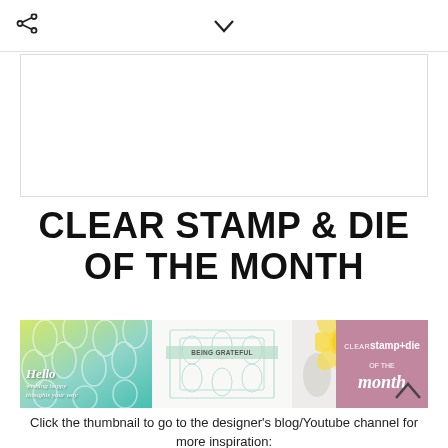< share icon > < chevron down icon >
[Figure (illustration): Blank white content box with border, placeholder area]
CLEAR STAMP & DIE OF THE MONTH
[Figure (photo): Banner image showing two decorative cards and a yellow flower with 'clear stamp+die of the month' mauve logo box on right]
Click the thumbnail to go to the designer's blog/Youtube channel for more inspiration: